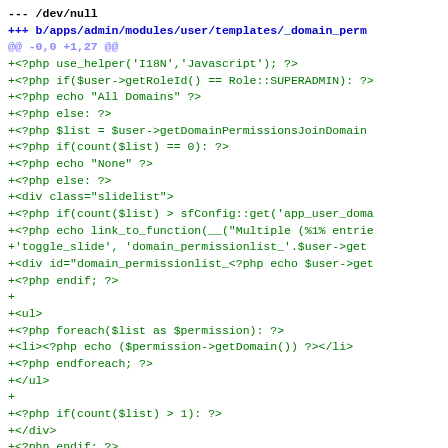--- /dev/null
+++ b/apps/admin/modules/user/templates/_domain_permi
@@ -0,0 +1,27 @@
+<?php use_helper('I18N','Javascript'); ?>
+<?php if($user->getRoleId() == Role::SUPERADMIN): ?>
+<?php echo "All Domains" ?>
+<?php else: ?>
+<?php $list = $user->getDomainPermissionsJoinDomain
+<?php if(count($list) == 0): ?>
+<?php echo "None" ?>
+<?php else: ?>
+<div class="slidelist">
+<?php if(count($list) > sfConfig::get('app_user_doma
+<?php echo link_to_function(__("Multiple (%1% entrie
+'toggle_slide', 'domain_permissionlist_'.$user->get
+<div id="domain_permissionlist_<?php echo $user->get
+<?php endif; ?>
+
+<ul>
+<?php foreach($list as $permission): ?>
+<li><?php echo ($permission->getDomain()) ?></li>
+<?php endforeach; ?>
+</ul>
+
+<?php if(count($list) > 1): ?>
+</div>
+<?php endif; ?>
+</div>
+<?php endif; ?>
+<?php endif; ?>